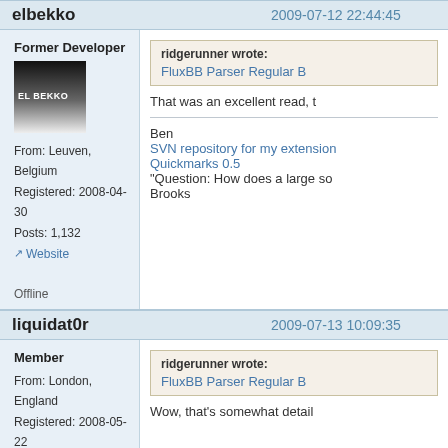elbekko
2009-07-12 22:44:45
Former Developer
[Figure (photo): Avatar image with dark to light gradient and text EL BEKKO]
From: Leuven, Belgium
Registered: 2008-04-30
Posts: 1,132
Website
Offline
ridgerunner wrote:
FluxBB Parser Regular B
That was an excellent read, t
Ben
SVN repository for my extension
Quickmarks 0.5
“Question: How does a large so
Brooks
liquidat0r
2009-07-13 10:09:35
Member
From: London, England
Registered: 2008-05-22
Posts: 418
Website
ridgerunner wrote:
FluxBB Parser Regular B
Wow, that's somewhat detail